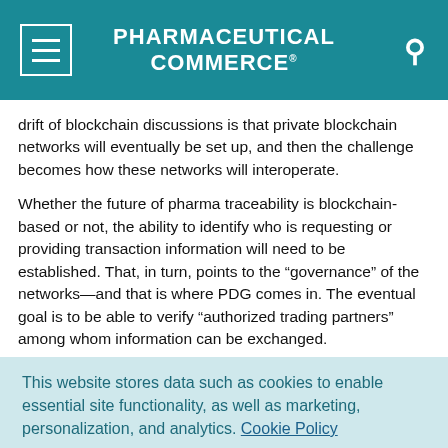PHARMACEUTICAL COMMERCE
drift of blockchain discussions is that private blockchain networks will eventually be set up, and then the challenge becomes how these networks will interoperate.
Whether the future of pharma traceability is blockchain-based or not, the ability to identify who is requesting or providing transaction information will need to be established. That, in turn, points to the “governance” of the networks—and that is where PDG comes in. The eventual goal is to be able to verify “authorized trading partners” among whom information can be exchanged.
This website stores data such as cookies to enable essential site functionality, as well as marketing, personalization, and analytics. Cookie Policy
Accept
Deny